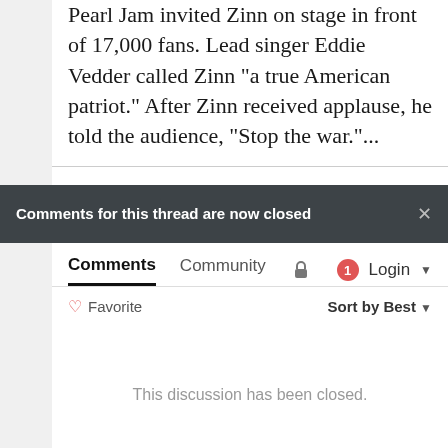Pearl Jam invited Zinn on stage in front of 17,000 fans. Lead singer Eddie Vedder called Zinn "a true American patriot." After Zinn received applause, he told the audience, "Stop the war."...
Comments for this thread are now closed
Comments  Community  🔒  1  Login ▾
♡ Favorite  Sort by Best ▾
This discussion has been closed.